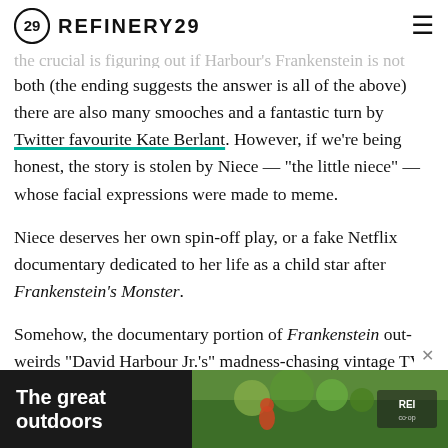REFINERY29
the crucial is figuring out if Harbour's Frankenstein is not Frankenstein and his monster, or neither, or Harbour is all both (the ending suggests the answer is all of the above) there are also many smooches and a fantastic turn by Twitter favourite Kate Berlant. However, if we're being honest, the story is stolen by Niece — "the little niece" — whose facial expressions were made to meme.
Niece deserves her own spin-off play, or a fake Netflix documentary dedicated to her life as a child star after Frankenstein's Monster.
Somehow, the documentary portion of Frankenstein out-weirds "David Harbour Jr.'s" madness-chasing vintage TV project. Through David III's interviews with his father's past co-[...] be capable of murder. And, at minimum, David Jr. was prone
[Figure (screenshot): Advertisement banner at bottom of page showing 'The great outdoors' text with outdoor photo and REI Co-op logo]